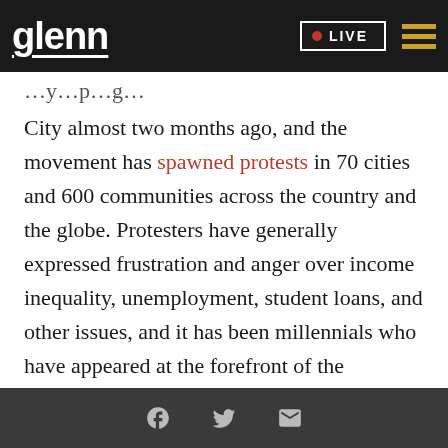glenn | LIVE
City almost two months ago, and the movement has spawned protests in 70 cities and 600 communities across the country and the globe. Protesters have generally expressed frustration and anger over income inequality, unemployment, student loans, and other issues, and it has been millennials who have appeared at the forefront of the movement.
Young people’s participation in the movement makes sense. Only 55% of Americans between the ages of 18 and 29 were employed last year, the lowest
Social share icons: Facebook, Twitter, Email